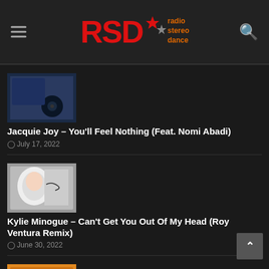Radio Stereo Dance
[Figure (photo): Album cover thumbnail for Jacquie Joy - You'll Feel Nothing]
Jacquie Joy – You'll Feel Nothing (Feat. Nomi Abadi)
July 17, 2022
[Figure (photo): Album cover thumbnail for Kylie Minogue - Can't Get You Out Of My Head]
Kylie Minogue – Can't Get You Out Of My Head (Roy Ventura Remix)
June 30, 2022
[Figure (photo): Album cover thumbnail partially visible at bottom]